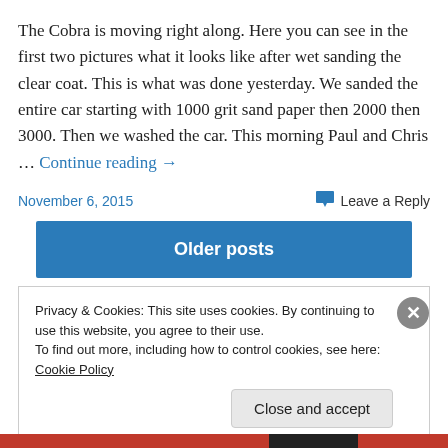The Cobra is moving right along. Here you can see in the first two pictures what it looks like after wet sanding the clear coat. This is what was done yesterday. We sanded the entire car starting with 1000 grit sand paper then 2000 then 3000. Then we washed the car. This morning Paul and Chris … Continue reading →
November 6, 2015
Leave a Reply
Older posts
Privacy & Cookies: This site uses cookies. By continuing to use this website, you agree to their use.
To find out more, including how to control cookies, see here: Cookie Policy
Close and accept